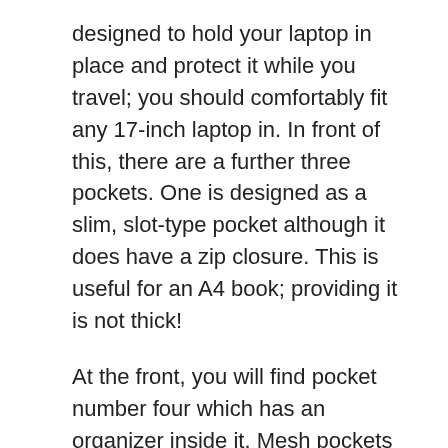designed to hold your laptop in place and protect it while you travel; you should comfortably fit any 17-inch laptop in. In front of this, there are a further three pockets. One is designed as a slim, slot-type pocket although it does have a zip closure. This is useful for an A4 book; providing it is not thick!
At the front, you will find pocket number four which has an organizer inside it. Mesh pockets provide you with space for pens, bank cards, your cell phone, and even a notepad or calculator. On the outside of this pocket is a further slimline pocket just large enough to handle your cell phone, or a similarly sized object.